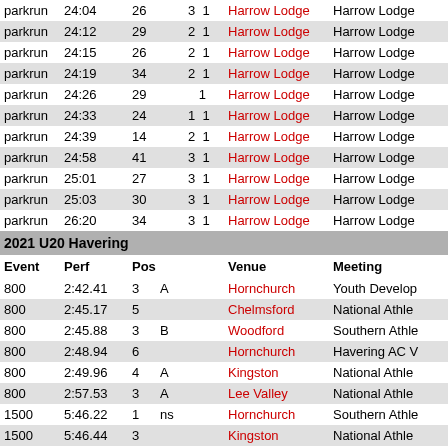| Event | Perf | Pos |  |  | Venue | Meeting |
| --- | --- | --- | --- | --- | --- | --- |
| parkrun | 24:04 | 26 |  | 3 1 | Harrow Lodge | Harrow Lodge |
| parkrun | 24:12 | 29 |  | 2 1 | Harrow Lodge | Harrow Lodge |
| parkrun | 24:15 | 26 |  | 2 1 | Harrow Lodge | Harrow Lodge |
| parkrun | 24:19 | 34 |  | 2 1 | Harrow Lodge | Harrow Lodge |
| parkrun | 24:26 | 29 |  | 1 | Harrow Lodge | Harrow Lodge |
| parkrun | 24:33 | 24 |  | 1 1 | Harrow Lodge | Harrow Lodge |
| parkrun | 24:39 | 14 |  | 2 1 | Harrow Lodge | Harrow Lodge |
| parkrun | 24:58 | 41 |  | 3 1 | Harrow Lodge | Harrow Lodge |
| parkrun | 25:01 | 27 |  | 3 1 | Harrow Lodge | Harrow Lodge |
| parkrun | 25:03 | 30 |  | 3 1 | Harrow Lodge | Harrow Lodge |
| parkrun | 26:20 | 34 |  | 3 1 | Harrow Lodge | Harrow Lodge |
2021 U20 Havering
| Event | Perf | Pos |  |  | Venue | Meeting |
| --- | --- | --- | --- | --- | --- | --- |
| 800 | 2:42.41 | 3 | A |  | Hornchurch | Youth Develop... |
| 800 | 2:45.17 | 5 |  |  | Chelmsford | National Athle... |
| 800 | 2:45.88 | 3 | B |  | Woodford | Southern Athle... |
| 800 | 2:48.94 | 6 |  |  | Hornchurch | Havering AC V... |
| 800 | 2:49.96 | 4 | A |  | Kingston | National Athle... |
| 800 | 2:57.53 | 3 | A |  | Lee Valley | National Athle... |
| 1500 | 5:46.22 | 1 | ns |  | Hornchurch | Southern Athle... |
| 1500 | 5:46.44 | 3 |  |  | Kingston | National Athle... |
| 1500 | 5:48.75 | 2 | P |  | Bedford | England Athle... Disability Cha... |
| 1500 | 5:51.43 | 8 | 1 |  | Dagenham | Be Fit Today T... |
| 1500 | 5:52.22 | 1 | B |  | Woodford | Youth Develop... |
| parkrun | 24:33 | 15 |  | 1 1 | Harrow Lodge | Harrow Lodge |